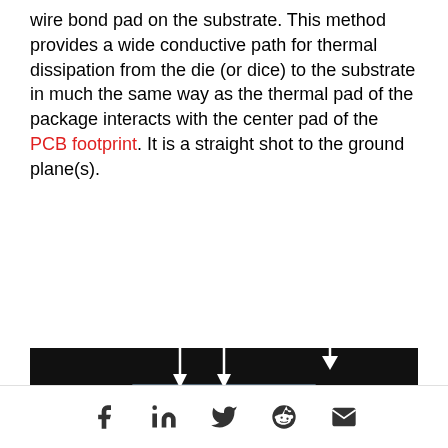wire bond pad on the substrate. This method provides a wide conductive path for thermal dissipation from the die (or dice) to the substrate in much the same way as the thermal pad of the package interacts with the center pad of the PCB footprint. It is a straight shot to the ground plane(s).
[Figure (engineering-diagram): Cross-section diagram of a flip-chip BGA package showing a black substrate with a light blue die attached at the top, multiple solder balls below, downward arrows indicating pressure/connection from above, and upward arrows labeled 'Solder Ball' and 'Rigid Laminate Substrate' pointing to features at the bottom.]
Social share icons: Facebook, LinkedIn, Twitter, Reddit, Email